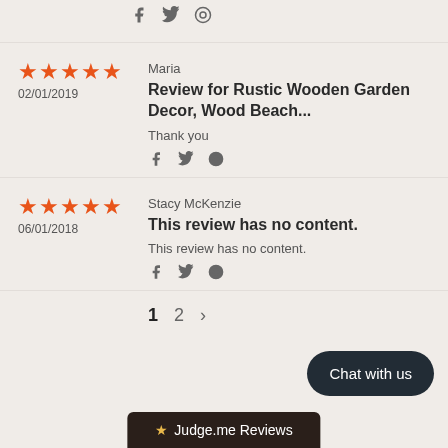This review has no content. (truncated top)
Social share icons (Facebook, Twitter, Pinterest)
★★★★★ 02/01/2019 — Maria — Review for Rustic Wooden Garden Decor, Wood Beach... — Thank you
Social share icons
★★★★★ 06/01/2018 — Stacy McKenzie — This review has no content. — This review has no content.
Social share icons
Pagination: 1 2 >
Chat with us
★ Judge.me Reviews